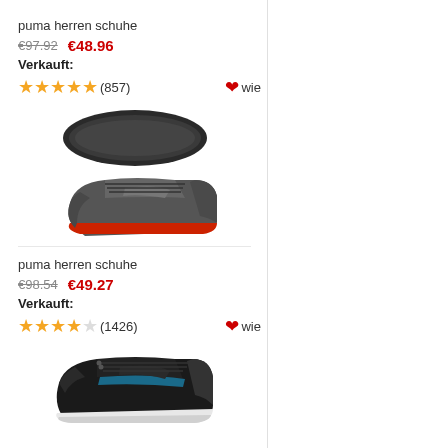puma herren schuhe
€97.92  €48.96
Verkauft:
★★★★★ (857)  ♥wie
[Figure (photo): Puma men's athletic shoes - dark grey/black sneaker with red sole accent, shown from side and sole view]
puma herren schuhe
€98.54  €49.27
Verkauft:
★★★★☆ (1426)  ♥wie
[Figure (photo): Puma men's athletic shoes - black sneaker with blue accent stripe, shown from side view]